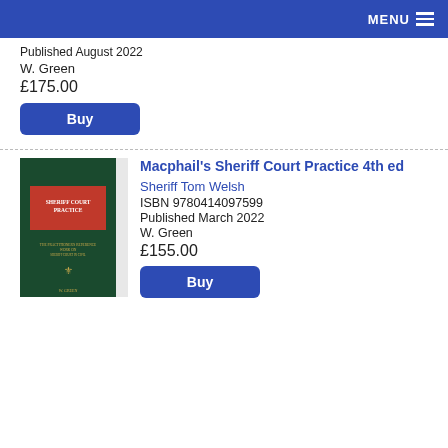MENU
Published August 2022
W. Green
£175.00
Buy
[Figure (photo): Book cover of Macphail's Sheriff Court Practice 4th edition, dark green cover with red title panel and gold publisher crest]
Macphail's Sheriff Court Practice 4th ed
Sheriff Tom Welsh
ISBN 9780414097599
Published March 2022
W. Green
£155.00
Buy